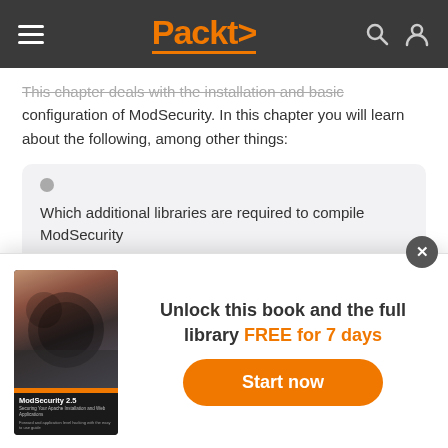Packt>
This chapter deals with the installation and basic configuration of ModSecurity. In this chapter you will learn about the following, among other things:
Which additional libraries are required to compile ModSecurity
How to compile ModSecurity from source
[Figure (other): Popup overlay with ModSecurity 2.5 book cover and call-to-action: Unlock this book and the full library FREE for 7 days, with a Start now button]